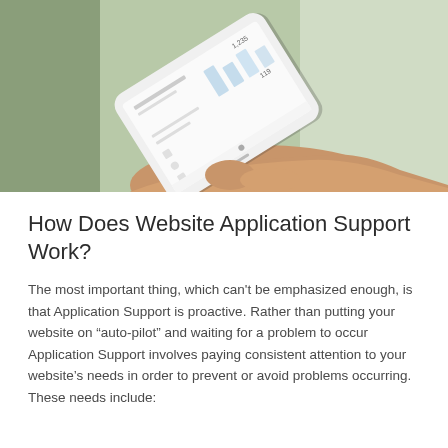[Figure (photo): A hand holding a white smartphone displaying a social media or analytics app interface with charts and statistics, with green plant leaves visible in the background.]
How Does Website Application Support Work?
The most important thing, which can't be emphasized enough, is that Application Support is proactive. Rather than putting your website on “auto-pilot” and waiting for a problem to occur Application Support involves paying consistent attention to your website’s needs in order to prevent or avoid problems occurring. These needs include: